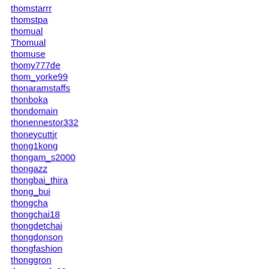thomstarrr
thomstpa
thomual
Thomual
thomuse
thomy777de
thom_yorke99
thonaramstaffs
thonboka
thondomain
thonennestor332
thoneycuttjr
thong1kong
thongam_s2000
thongazz
thongbai_thira
thong_bui
thongcha
thongchai18
thongdetchai
thongdonson
thongfashion
thonggron
thong_grrl_69
thonggrrrls